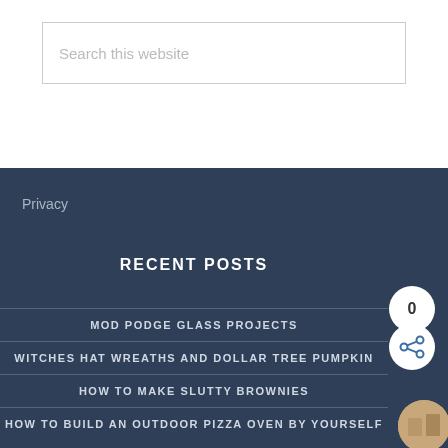Search this website
Privacy
RECENT POSTS
MOD PODGE GLASS PROJECTS
WITCHES HAT WREATHS AND DOLLAR TREE PUMPKIN
HOW TO MAKE SLUTTY BROWNIES
HOW TO BUILD AN OUTDOOR PIZZA OVEN BY YOURSELF